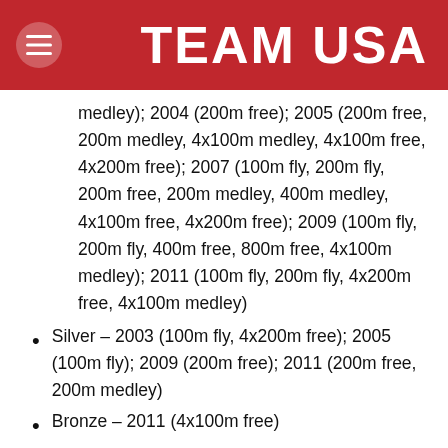TEAM USA
medley); 2004 (200m free); 2005 (200m free, 200m medley, 4x100m medley, 4x100m free, 4x200m free); 2007 (100m fly, 200m fly, 200m free, 200m medley, 400m medley, 4x100m free, 4x200m free); 2009 (100m fly, 200m fly, 400m free, 800m free, 4x100m medley); 2011 (100m fly, 200m fly, 4x200m free, 4x100m medley)
Silver – 2003 (100m fly, 4x200m free); 2005 (100m fly); 2009 (200m free); 2011 (200m free, 200m medley)
Bronze – 2011 (4x100m free)
His four individual world records and seven